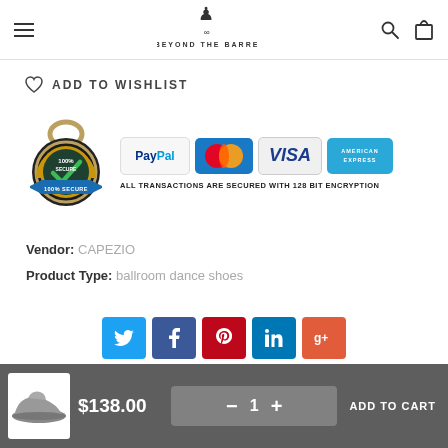BEYOND THE BARRE
ADD TO WISHLIST
[Figure (infographic): 100% Secure badge with PayPal, MasterCard, Visa, and American Express payment icons. Text: ALL TRANSACTIONS ARE SECURED WITH 128 BIT ENCRYPTION]
Vendor: CAPEZIO
Product Type: ballroom dance shoes
[Figure (infographic): Social share buttons: Twitter, Facebook, Pinterest, LinkedIn, Google Plus]
$138.00  — 1  ADD TO CART